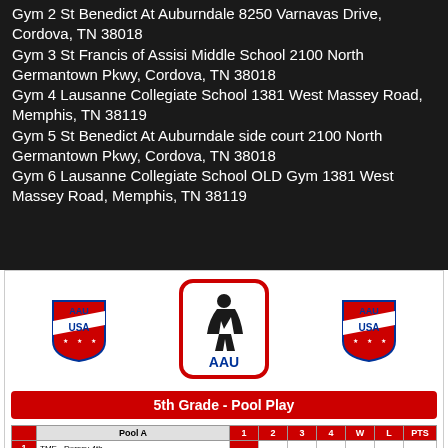Gym 2 St Benedict At Auburndale 8250 Varnavas Drive, Cordova, TN 38018
Gym 3 St Francis of Assisi Middle School 2100 North Germantown Pkwy, Cordova, TN 38018
Gym 4 Lausanne Collegiate School 1381 West Massey Road, Memphis, TN 38119
Gym 5 St Benedict At Auburndale side court 2100 North Germantown Pkwy, Cordova, TN 38018
Gym 6 Lausanne Collegiate School OLD Gym 1381 West Massey Road, Memphis, TN 38119
[Figure (logo): AAU USA shield logo (left)]
[Figure (logo): AAU basketball player center logo]
[Figure (logo): AAU USA shield logo (right)]
5th Grade - Pool Play
|  | Pool A | 1 | 2 | 3 | 4 | W | L | PTS |
| --- | --- | --- | --- | --- | --- | --- | --- | --- |
| 1 | TME - Dorsey 4th |  |  |  |  |  |  |  |
| 2 | Future Stars 4th |  |  |  |  |  |  |  |
| 3 | Future Stars 5th |  |  |  |  |  |  |  |
| 4 | TME - Flint 5th |  |  |  |  |  |  |  |